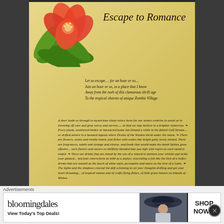[Figure (illustration): Tropical red hibiscus flower with green leaves illustrated in top-left of parchment document]
Escape to Romance
Let us escape.... for an hour or so.... Just an hour or so, to a place that I know Away from the rush of this clamorous shrill age To the tropical charms of unique Zombie Village.
A door leads us through to mysterious vistas where lures for our senses contrive to assist us in throwing off care and gray worry and sorrow..... so that we may believe in a brighter tomorrow. Every plank, weathered timber or barnacled beam has floated a while in the fabled Gulf Stream.... or drifted ashore in a haunted lagoon where Drums of the Voodoo throb under the moon. There are flowers, exotic and vividly tinted, and fishes with scales like bright gold, newly minted. There are fragrances, subtle and strange and elusive, and foods that would make the dumb Sphinx grow effusive... such flavors and savors so skillfully blended that you sigh with regret as each stand is ended. There are drinks that are mixed by the son of a wizard to moisten your whistle and tickle your gizzard... luscious concoctions as mild as a zephyr, concealing a jolt like the kick of a heifer; drinks that are smooth as the touch of white satin, persuasive and suave as the love of a Latin. The lights and the shadows conceal the deft scheming to set your thoughts drifting and get your heart dreaming... of tropical moons and of crafts flying fishes, of little grass houses on Islands of Wishes.
[Figure (illustration): Tropical red hibiscus flower with green leaves illustrated in bottom-right of parchment document]
Tor Henzburg
"Rich man, poor man, beggar man, thief, doctor, lawyer, merchant chief".... Who you are and who you are matters not.... as long as you are one of those discriminating people who will take time to enjoy good food and drink, as will...
Advertisements
bloomingdales
View Today's Top Deals!
SHOP NOW >